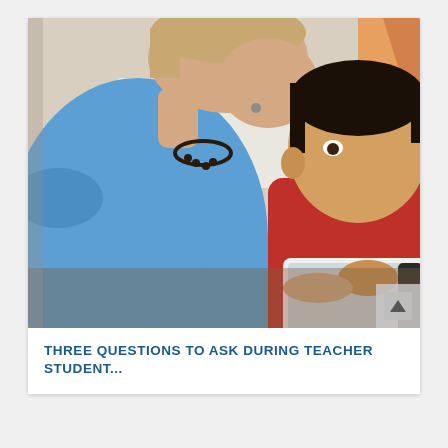[Figure (photo): A female teacher in a blue top leaning over to look at a tablet with a young boy in a red top in a classroom setting.]
THREE QUESTIONS TO ASK DURING TEACHER STUDENT...